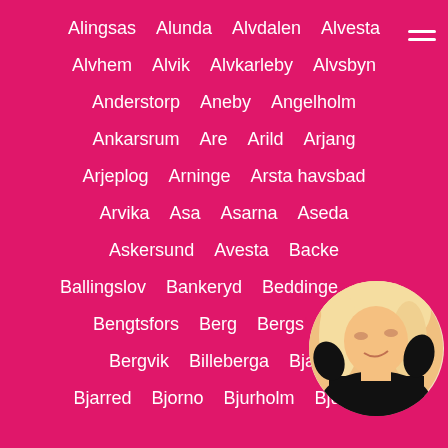Alingsas  Alunda  Alvdalen  Alvesta
Alvhem  Alvik  Alvkarleby  Alvsbyn
Anderstorp  Aneby  Angelholm
Ankarsrum  Are  Arild  Arjang
Arjeplog  Arninge  Arsta havsbad
Arvika  Asa  Asarna  Aseda
Askersund  Avesta  Backe
Ballingslov  Bankeryd  Beddinge...
Bengtsfors  Berg  Bergs...
Bergvik  Billeberga  Bja...
Bjarred  Bjorno  Bjurholm  Bjursas